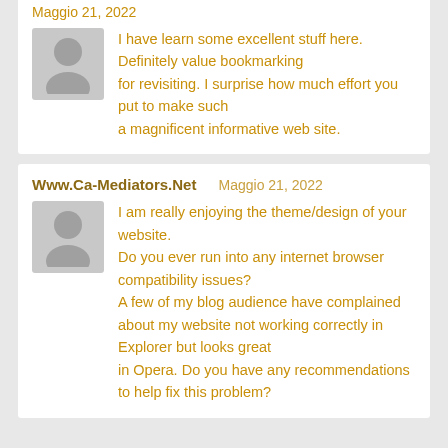Maggio 21, 2022
I have learn some excellent stuff here. Definitely value bookmarking for revisiting. I surprise how much effort you put to make such a magnificent informative web site.
Www.Ca-Mediators.Net   Maggio 21, 2022
I am really enjoying the theme/design of your website. Do you ever run into any internet browser compatibility issues? A few of my blog audience have complained about my website not working correctly in Explorer but looks great in Opera. Do you have any recommendations to help fix this problem?